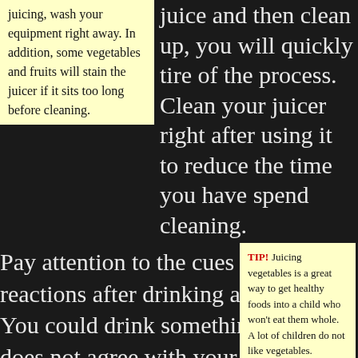juicing, wash your equipment right away. In addition, some vegetables and fruits will stain the juicer if it sits too long before cleaning.
juice and then clean up, you will quickly tire of the process. Clean your juicer right after using it to reduce the time you have spend cleaning.
TIP! Juicing vegetables is a great way to get healthy foods into a child who won't eat them whole. A lot of children do not like vegetables.
Pay attention to the cues your reactions after drinking a new juice. You could drink something that does not agree with your system. If you drink a new juice and feel queasy or experience stomach churning, study the various ingredients to see if you have incorporated something that you don't normally eat. Use smaller amounts of that fruit or vegetable to let your body to those ingredients.